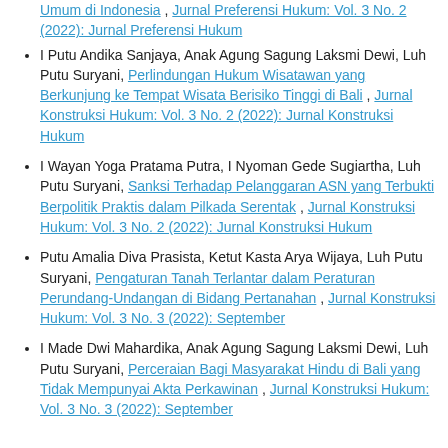(partial continuation) Umum di Indonesia , Jurnal Preferensi Hukum: Vol. 3 No. 2 (2022): Jurnal Preferensi Hukum
I Putu Andika Sanjaya, Anak Agung Sagung Laksmi Dewi, Luh Putu Suryani, Perlindungan Hukum Wisatawan yang Berkunjung ke Tempat Wisata Berisiko Tinggi di Bali , Jurnal Konstruksi Hukum: Vol. 3 No. 2 (2022): Jurnal Konstruksi Hukum
I Wayan Yoga Pratama Putra, I Nyoman Gede Sugiartha, Luh Putu Suryani, Sanksi Terhadap Pelanggaran ASN yang Terbukti Berpolitik Praktis dalam Pilkada Serentak , Jurnal Konstruksi Hukum: Vol. 3 No. 2 (2022): Jurnal Konstruksi Hukum
Putu Amalia Diva Prasista, Ketut Kasta Arya Wijaya, Luh Putu Suryani, Pengaturan Tanah Terlantar dalam Peraturan Perundang-Undangan di Bidang Pertanahan , Jurnal Konstruksi Hukum: Vol. 3 No. 3 (2022): September
I Made Dwi Mahardika, Anak Agung Sagung Laksmi Dewi, Luh Putu Suryani, Perceraian Bagi Masyarakat Hindu di Bali yang Tidak Mempunyai Akta Perkawinan , Jurnal Konstruksi Hukum: Vol. 3 No. 3 (2022): September